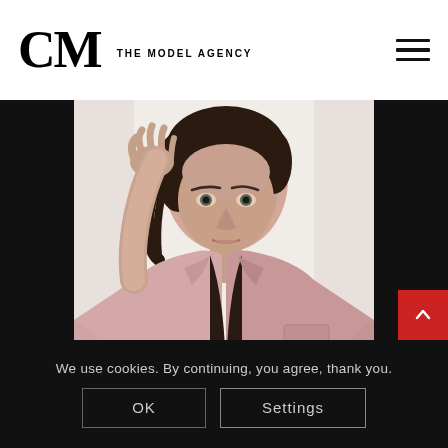CM THE MODEL AGENCY
[Figure (photo): Fashion model with short dark hair wearing an open pink blazer jacket, photographed against a white background. Dark side panels flank the image.]
We use cookies. By continuing, you agree, thank you.
OK
Settings